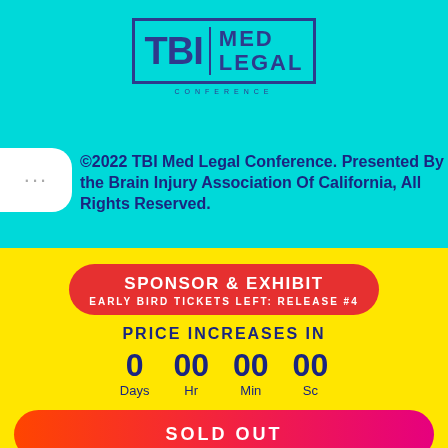[Figure (logo): TBI Med Legal Conference logo with bold blue text in a bordered box, subtitle 'CONFERENCE' in spaced letters]
©2022 TBI Med Legal Conference. Presented By the Brain Injury Association Of California, All Rights Reserved.
SPONSOR & EXHIBIT
EARLY BIRD TICKETS LEFT: RELEASE #4
PRICE INCREASES IN
0 Days  00 Hr  00 Min  00 Sc
SOLD OUT